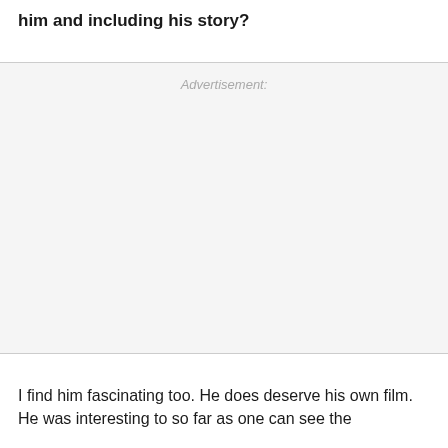him and including his story?
Advertisement:
I find him fascinating too. He does deserve his own film. He was interesting to so far as one can see the